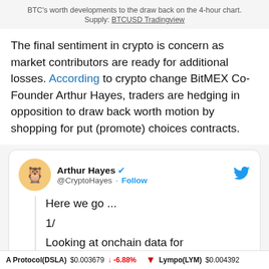BTC's worth developments to the draw back on the 4-hour chart.
Supply: BTCUSD Tradingview
The final sentiment in crypto is concern as market contributors are ready for additional losses. According to crypto change BitMEX Co-Founder Arthur Hayes, traders are hedging in opposition to draw back worth motion by shopping for put (promote) choices contracts.
[Figure (screenshot): Embedded tweet by Arthur Hayes (@CryptoHayes) with blue verified checkmark and Follow button. Tweet text: 'Here we go ... 1/ Looking at onchain data for']
A Protocol(DSLA) $0.003679 ↓ -6.88%   Lympo(LYM) $0.004392